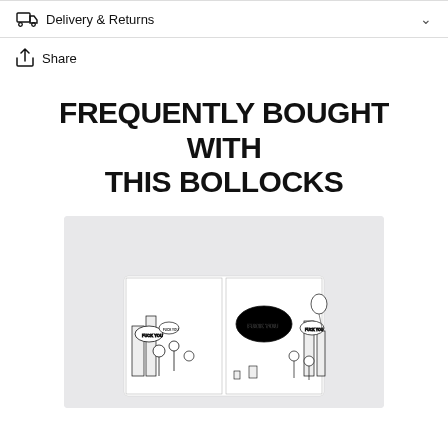Delivery & Returns
Share
FREQUENTLY BOUGHT WITH THIS BOLLOCKS
[Figure (illustration): Product image on light grey background showing a black and white comic-style illustration of cartoon characters with 'FUCK YOU' speech bubbles in a city scene]